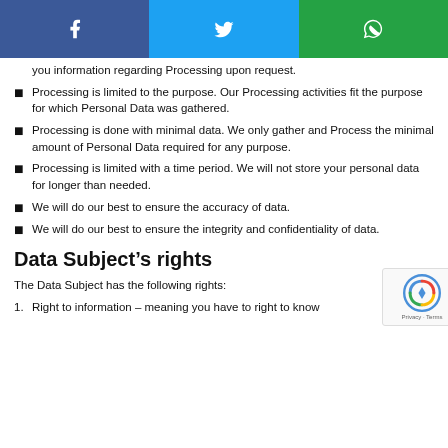[Figure (other): Social media sharing bar with Facebook, Twitter, and WhatsApp buttons]
you information regarding Processing upon request.
Processing is limited to the purpose. Our Processing activities fit the purpose for which Personal Data was gathered.
Processing is done with minimal data. We only gather and Process the minimal amount of Personal Data required for any purpose.
Processing is limited with a time period. We will not store your personal data for longer than needed.
We will do our best to ensure the accuracy of data.
We will do our best to ensure the integrity and confidentiality of data.
Data Subject’s rights
The Data Subject has the following rights:
Right to information – meaning you have to right to know